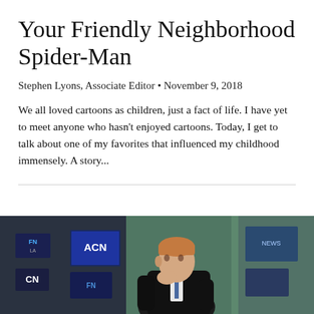Your Friendly Neighborhood Spider-Man
Stephen Lyons, Associate Editor • November 9, 2018
We all loved cartoons as children, just a fact of life. I have yet to meet anyone who hasn't enjoyed cartoons. Today, I get to talk about one of my favorites that influenced my childhood immensely. A story...
[Figure (photo): A man in a dark suit sitting in a newsroom, leaning with his hand to his chin in a thoughtful pose. Background shows TV screens with channel logos including ACN and CN visible.]